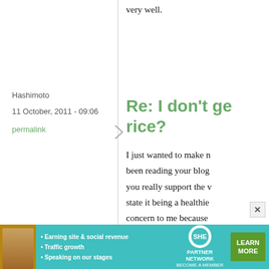very well.
Hashimoto
11 October, 2011 - 09:06
permalink
Re: I don't ge rice?
I just wanted to make n been reading your blog you really support the v state it being a healthie concern to me because Brown rice is not healt minerals and vita...
[Figure (infographic): SHE Partner Network advertisement banner with photo of woman, bullet points about earning site & social revenue, traffic growth, speaking on stages, SHE logo, and Learn More button]